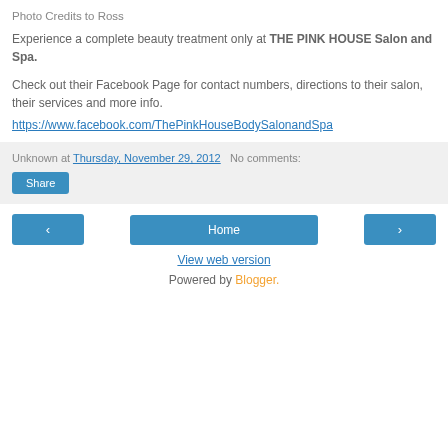Photo Credits to Ross
Experience a complete beauty treatment only at THE PINK HOUSE Salon and Spa.
Check out their Facebook Page for contact numbers, directions to their salon, their services and more info.
https://www.facebook.com/ThePinkHouseBodySalonandSpa
Unknown at Thursday, November 29, 2012   No comments:
Share
Home
View web version
Powered by Blogger.